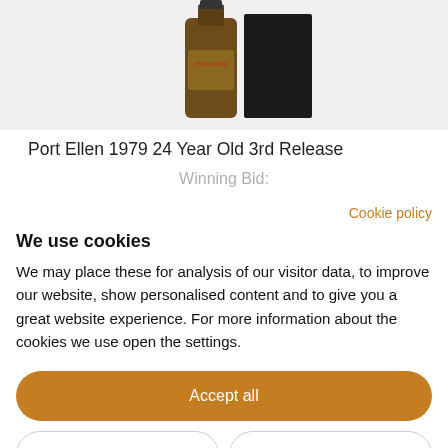[Figure (photo): Photo of a whisky bottle (Port Ellen 1979) with a black box/package behind it, on a light grey background]
Port Ellen 1979 24 Year Old 3rd Release
Winning Bid:
Cookie policy
We use cookies
We may place these for analysis of our visitor data, to improve our website, show personalised content and to give you a great website experience. For more information about the cookies we use open the settings.
Accept all
Deny
No, adjust